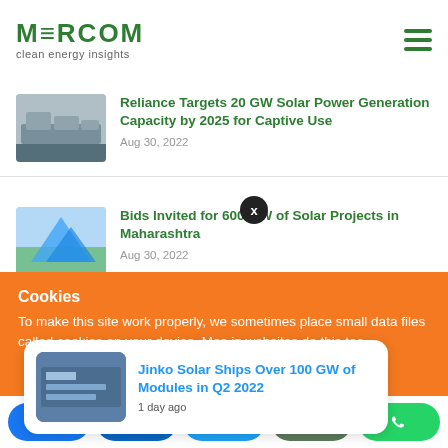MERCOM clean energy insights
Reliance Targets 20 GW Solar Power Generation Capacity by 2025 for Captive Use — Aug 30, 2022
Bids Invited for 600 MW of Solar Projects in Maharashtra — Aug 30, 2022
Bids Invited to Install LiDAR Buoys to Capture Wind Resource
Cookies
To make this site work properly, we sometimes place small data files called cookies on your device. Most big websites do this too.
Jinko Solar Ships Over 100 GW of Modules in Q2 2022 — 1 day ago